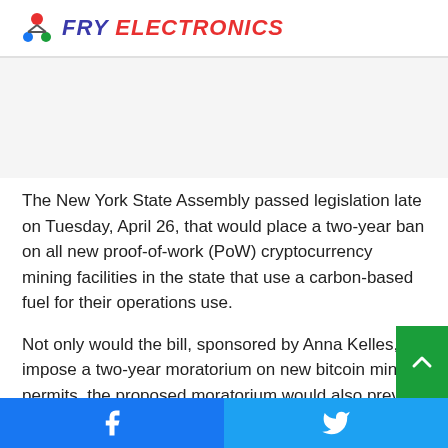FRY ELECTRONICS
[Figure (other): Advertisement / blank ad space area]
The New York State Assembly passed legislation late on Tuesday, April 26, that would place a two-year ban on all new proof-of-work (PoW) cryptocurrency mining facilities in the state that use a carbon-based fuel for their operations use.
Not only would the bill, sponsored by Anna Kelles, impose a two-year moratorium on new bitcoin mining permits, the proposed moratorium would also prevent the renewal of
Facebook share | Twitter share